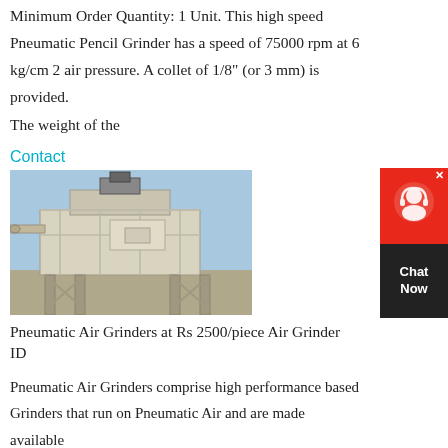Minimum Order Quantity: 1 Unit. This high speed Pneumatic Pencil Grinder has a speed of 75000 rpm at 6 kg/cm 2 air pressure. A collet of 1/8" (or 3 mm) is provided. The weight of the
Contact
[Figure (photo): Industrial pneumatic air grinder machine mounted on a structural steel frame, photographed outdoors.]
Pneumatic Air Grinders at Rs 2500/piece Air Grinder ID
Pneumatic Air Grinders comprise high performance based Grinders that run on Pneumatic Air and are made available under model dg 18.Delivering working speeds of 18000 rpm, these feature weight of 0.950 kg with air consumption
[Figure (other): Chat Now widget — red circular chat icon on red background with black Chat Now label]